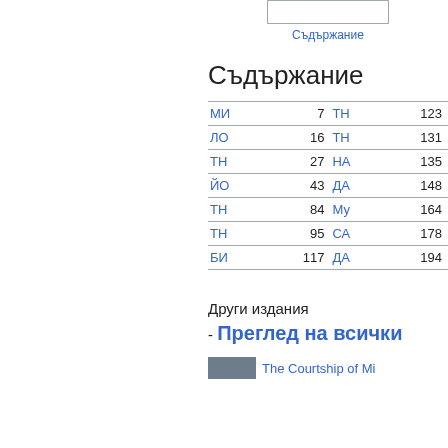[Figure (other): Small thumbnail image box with border]
Съдържание
Съдържание
| Entry | Page | Entry | Page |
| --- | --- | --- | --- |
| МИ | 7 | ТН | 123 |
| ЛО | 16 | ТН | 131 |
| ТН | 27 | НА | 135 |
| ЙО | 43 | ДА | 148 |
| ТН | 84 | Му | 164 |
| ТН | 95 | СА | 178 |
| БИ | 117 | ДА | 194 |
Други издания - Преглед на всички
The Courtship of Mi